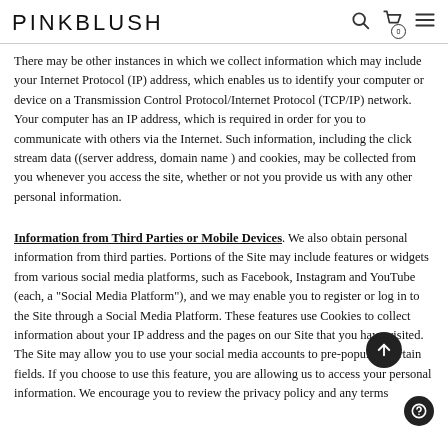PINKBLUSH
There may be other instances in which we collect information which may include your Internet Protocol (IP) address, which enables us to identify your computer or device on a Transmission Control Protocol/Internet Protocol (TCP/IP) network. Your computer has an IP address, which is required in order for you to communicate with others via the Internet. Such information, including the click stream data ((server address, domain name ) and cookies, may be collected from you whenever you access the site, whether or not you provide us with any other personal information.
Information from Third Parties or Mobile Devices. We also obtain personal information from third parties. Portions of the Site may include features or widgets from various social media platforms, such as Facebook, Instagram and YouTube (each, a "Social Media Platform"), and we may enable you to register or log in to the Site through a Social Media Platform. These features use Cookies to collect information about your IP address and the pages on our Site that you have visited. The Site may allow you to use your social media accounts to pre-populate certain fields. If you choose to use this feature, you are allowing us to access your personal information. We encourage you to review the privacy policy and any terms